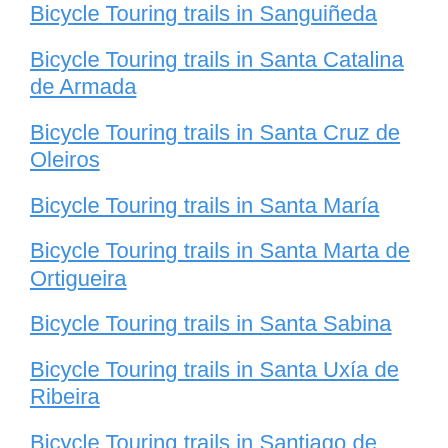Bicycle Touring trails in Sanguiñeda
Bicycle Touring trails in Santa Catalina de Armada
Bicycle Touring trails in Santa Cruz de Oleiros
Bicycle Touring trails in Santa María
Bicycle Touring trails in Santa Marta de Ortigueira
Bicycle Touring trails in Santa Sabina
Bicycle Touring trails in Santa Uxía de Ribeira
Bicycle Touring trails in Santiago de Compostela
Bicycle Touring trails in Santurxo
Bicycle Touring trails in Sardiñeiro de Abaixo